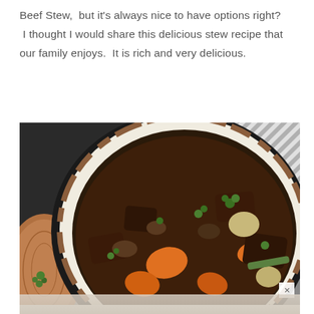Beef Stew, but it's always nice to have options right? I thought I would share this delicious stew recipe that our family enjoys. It is rich and very delicious.
[Figure (photo): Overhead view of a beef stew in a white enameled cast iron pot, showing chunks of beef, carrots, celery, and potatoes in a dark rich broth, garnished with fresh herbs. A black and white striped kitchen towel is visible in the background along with a wooden cutting board on the left. A partial second image of the stew is visible at the bottom.]